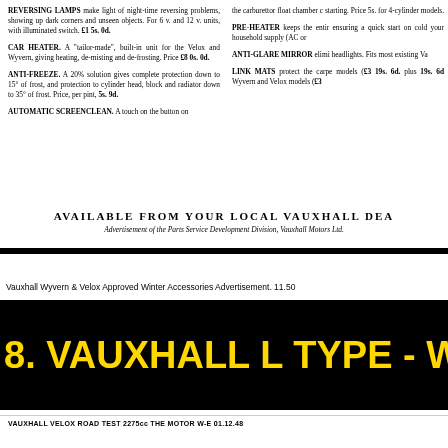REVERSING LAMPS make light of night-time reversing problems, showing up dark corners and unseen objects. For 6 v. and 12 v. units, with illuminated switch. £1 5s. 0d.
CAR HEATER. A "tailor-made", built-in unit for the Velox and Wyvern, giving heating, de-misting and de-frosting. Price £8 0s. 0d.
ANTI-FREEZE. A 20% solution gives complete protection down to 15° of frost, and protection to cylinder head, block and radiator down to 35° of frost. Price, per pint, 5s. 9d.
AUTOMATIC SCREENCLEAN. A touch on the button on
the carburettor float chamber c starting. Price 5s. for 4-cylinder models.
PRE-HEATER keeps the entir ensuring a quick start on cold your household supply (AC or
ANTI-GLARE MIRROR elimi headlights. Fits most existing Va
LINK MATS protect the carpe models (£3 19s. 6d. plus 19s. 6d Wyvern and Velox models (£3
AVAILABLE FROM YOUR LOCAL VAUXHALL DEA
Advertisement of the Parts Service Development Division, Vauxhall Motors Ltd.
Vauxhall Wyvern & Velox Approved Winter Accessories Advertisement. 11.50
8. VAUXHALL L TYPE - WYVE
VAUXHALL VELOX ROAD TEST 2275cc THE MOTOR W-E 01.12.48